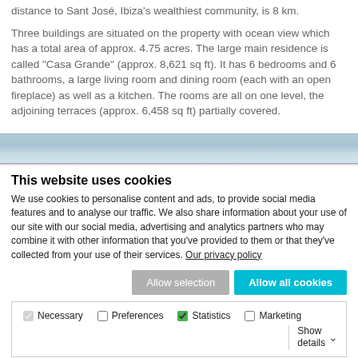distance to Sant José, Ibiza's wealthiest community, is 8 km.
Three buildings are situated on the property with ocean view which has a total area of approx. 4.75 acres. The large main residence is called "Casa Grande" (approx. 8,621 sq ft). It has 6 bedrooms and 6 bathrooms, a large living room and dining room (each with an open fireplace) as well as a kitchen. The rooms are all on one level, the adjoining terraces (approx. 6,458 sq ft) partially covered.
[Figure (photo): Landscape/property image strip showing sky and terrain]
This website uses cookies
We use cookies to personalise content and ads, to provide social media features and to analyse our traffic. We also share information about your use of our site with our social media, advertising and analytics partners who may combine it with other information that you've provided to them or that they've collected from your use of their services. Our privacy policy
Allow selection | Allow all cookies
Necessary  Preferences  Statistics  Marketing  Show details